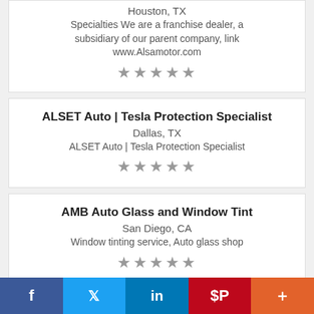Houston, TX
Specialties We are a franchise dealer, a subsidiary of our parent company, link www.Alsamotor.com
★★★★★
ALSET Auto | Tesla Protection Specialist
Dallas, TX
ALSET Auto | Tesla Protection Specialist
★★★★★
AMB Auto Glass and Window Tint
San Diego, CA
Window tinting service, Auto glass shop
★★★★★
[Figure (screenshot): Social share bar with Facebook, Twitter, LinkedIn, Pinterest, and More buttons]